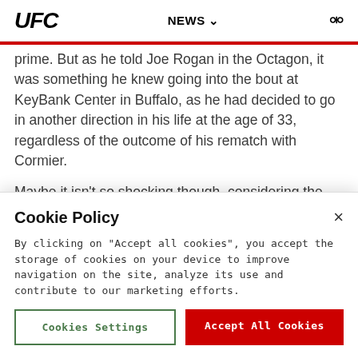UFC | NEWS
prime. But as he told Joe Rogan in the Octagon, it was something he knew going into the bout at KeyBank Center in Buffalo, as he had decided to go in another direction in his life at the age of 33, regardless of the outcome of his rematch with Cormier.
Maybe it isn't so shocking though, considering the rigors of the fighting life and Johnson's admissions over the years that he was in a place he never pictured himself in.
Cookie Policy
By clicking on "Accept all cookies", you accept the storage of cookies on your device to improve navigation on the site, analyze its use and contribute to our marketing efforts.
Cookies Settings
Accept All Cookies